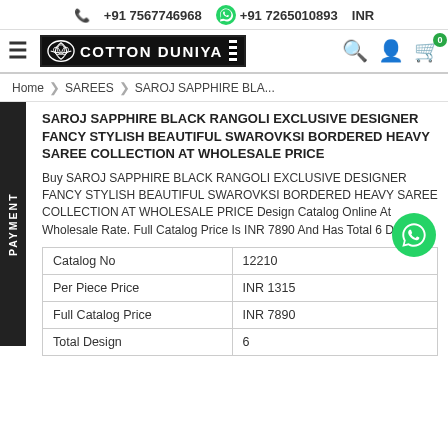+91 7567746968   +91 7265010893   INR
[Figure (logo): Cotton Duniya logo with lotus icon and navigation bar including hamburger menu, search, user, and cart icons]
Home > SAREES > SAROJ SAPPHIRE BLA...
SAROJ SAPPHIRE BLACK RANGOLI EXCLUSIVE DESIGNER FANCY STYLISH BEAUTIFUL SWAROVKSI BORDERED HEAVY SAREE COLLECTION AT WHOLESALE PRICE
Buy SAROJ SAPPHIRE BLACK RANGOLI EXCLUSIVE DESIGNER FANCY STYLISH BEAUTIFUL SWAROVKSI BORDERED HEAVY SAREE COLLECTION AT WHOLESALE PRICE Design Catalog Online At Wholesale Rate. Full Catalog Price Is INR 7890 And Has Total 6 Design.
| Catalog No | 12210 |
| Per Piece Price | INR 1315 |
| Full Catalog Price | INR 7890 |
| Total Design | 6 |